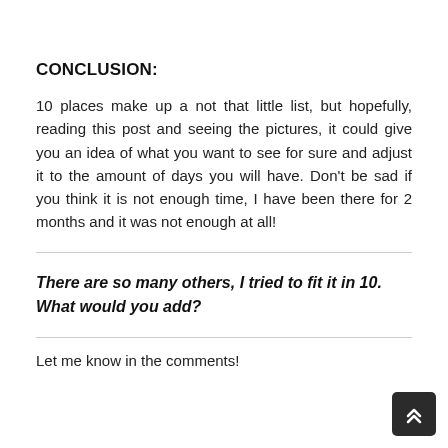CONCLUSION:
10 places make up a not that little list, but hopefully, reading this post and seeing the pictures, it could give you an idea of what you want to see for sure and adjust it to the amount of days you will have. Don't be sad if you think it is not enough time, I have been there for 2 months and it was not enough at all!
There are so many others, I tried to fit it in 10. What would you add?
Let me know in the comments!